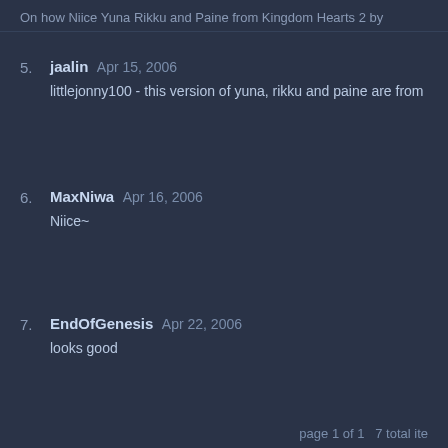5. jaalin Apr 15, 2006 — littlejonny100 - this version of yuna, rikku and paine are from
6. MaxNiwa Apr 16, 2006 — Niice~
7. EndOfGenesis Apr 22, 2006 — looks good
page 1 of 1   7 total ite
Only members can post comments, please register.
This site uses cookies. By continuing to browse the site you are agreeing to our use of cookies. Read more.